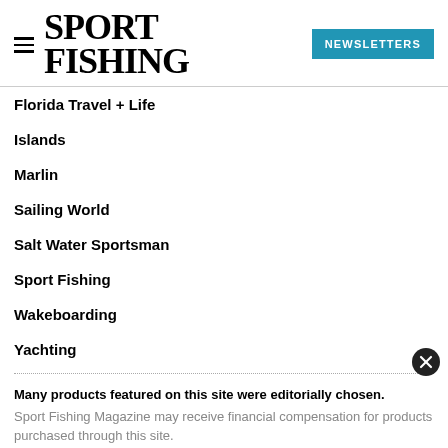SPORT FISHING — NEWSLETTERS
Florida Travel + Life
Islands
Marlin
Sailing World
Salt Water Sportsman
Sport Fishing
Wakeboarding
Yachting
Many products featured on this site were editorially chosen.
Sport Fishing Magazine may receive financial compensation for products purchased through this site.
Copyright © 2022 Sport Fishing Magazine. A Bonnier LLC